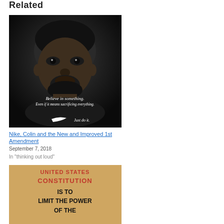Related
[Figure (photo): Black and white Nike advertisement photo of Colin Kaepernick with text 'Believe in something. Even if it means sacrificing everything.' and Nike swoosh logo with 'Just do it.']
Nike, Colin and the New and Improved 1st Amendment
September 7, 2018
In "thinking out loud"
[Figure (photo): Image of United States Constitution text on aged parchment background reading 'UNITED STATES CONSTITUTION IS TO LIMIT THE POWER OF THE']